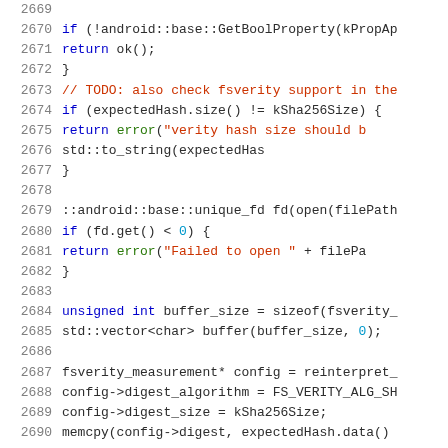[Figure (screenshot): Source code listing showing C++ code lines 2669-2690 with syntax highlighting. Line numbers in gray on the left, keywords in blue, strings in red, function names in green, numeric literals in cyan.]